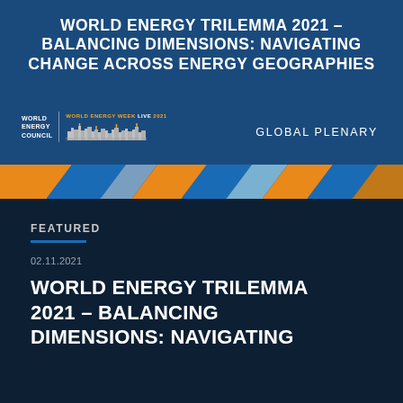WORLD ENERGY TRILEMMA 2021 – BALANCING DIMENSIONS: NAVIGATING CHANGE ACROSS ENERGY GEOGRAPHIES
[Figure (logo): World Energy Council logo with World Energy Week Live 2021 event branding and skyline graphic]
GLOBAL PLENARY
[Figure (illustration): Geometric banner strip with orange, blue and grey angled shapes]
FEATURED
02.11.2021
WORLD ENERGY TRILEMMA 2021 – BALANCING DIMENSIONS: NAVIGATING